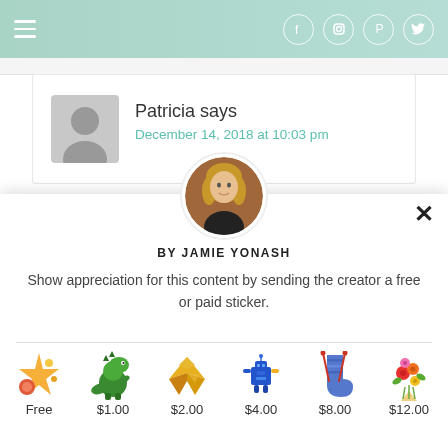Navigation bar with hamburger menu and social icons (Facebook, Instagram, Pinterest, Twitter)
Patricia says
December 14, 2018 at 10:03 pm
[Figure (screenshot): Modal popup showing Jamie Yonash profile with sticker options: Free, $1.00, $2.00, $4.00, $8.00, $12.00]
BY JAMIE YONASH
Show appreciation for this content by sending the creator a free or paid sticker.
Free
$1.00
$2.00
$4.00
$8.00
$12.00